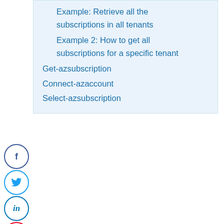Example: Retrieve all the subscriptions in all tenants
Example 2: How to get all subscriptions for a specific tenant
Get-azsubscription
Connect-azaccount
Select-azsubscription
New-AzureRmResourceGroup: 'this.Client.SubscriptionId' cannot be null [Solved]
The above error came while trying to execute the below cmdlet to create the Azure web app using PowerShell ISE in Azure.